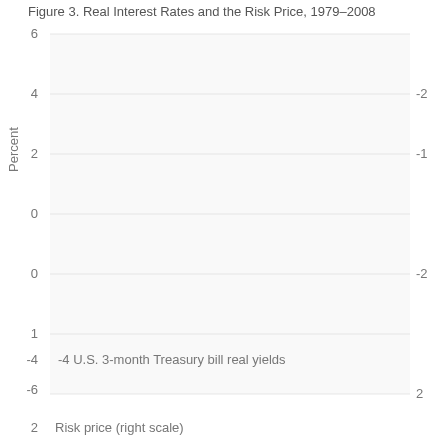Figure 3. Real Interest Rates and the Risk Price, 1979–2008
[Figure (continuous-plot): Dual-axis line chart showing U.S. 3-month Treasury bill real yields (left scale, percent) and Risk price (right scale) from 1979 to 2008. Left axis runs from about -6 to 6. Right axis runs from about -2 to 2. The chart body is not fully visible in this portion of the page — axis labels and legend items are shown.]